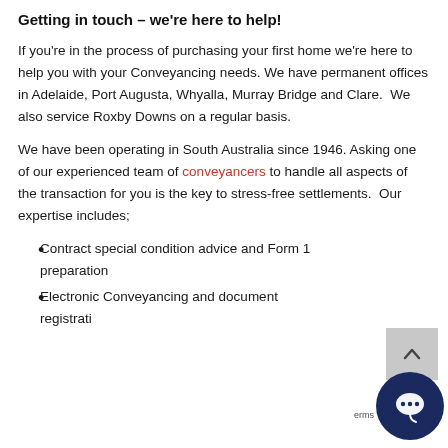Getting in touch – we're here to help!
If you're in the process of purchasing your first home we're here to help you with your Conveyancing needs. We have permanent offices in Adelaide, Port Augusta, Whyalla, Murray Bridge and Clare.  We also service Roxby Downs on a regular basis.
We have been operating in South Australia since 1946.  Asking one of our experienced team of conveyancers to handle all aspects of the transaction for you is the key to stress-free settlements.  Our expertise includes;
Contract special condition advice and Form 1 preparation
Electronic Conveyancing and document registration